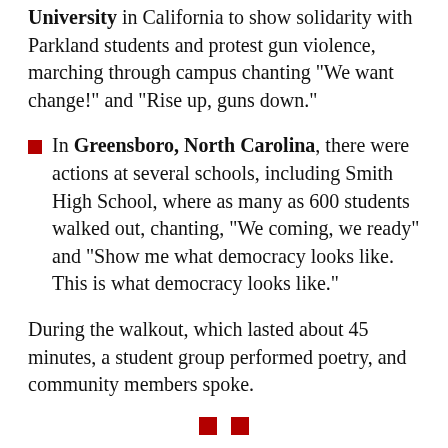University in California to show solidarity with Parkland students and protest gun violence, marching through campus chanting "We want change!" and "Rise up, guns down."
In Greensboro, North Carolina, there were actions at several schools, including Smith High School, where as many as 600 students walked out, chanting, "We coming, we ready" and "Show me what democracy looks like. This is what democracy looks like."
During the walkout, which lasted about 45 minutes, a student group performed poetry, and community members spoke.
■  ■
THE MARCH 14 day of action was the latest step in the growing activism on the part of students calling out politicians on their refusal to take on the NRA.